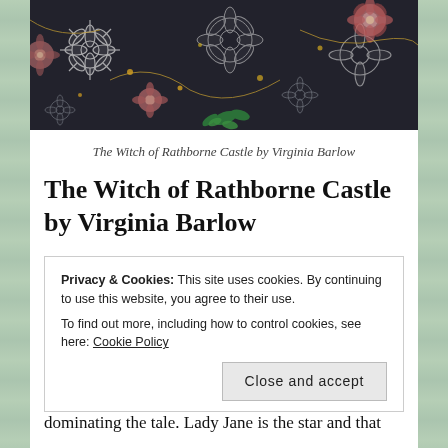[Figure (illustration): Decorative floral pattern on dark background — flowers in pink, gold, white outlines with green accents, used as a book cover or header image.]
The Witch of Rathborne Castle by Virginia Barlow
The Witch of Rathborne Castle by Virginia Barlow
A historical charm of a time and place long ago. The heroine here is strong willed, determined to carry on alone and finds it difficult to believe in or
Privacy & Cookies: This site uses cookies. By continuing to use this website, you agree to their use.
To find out more, including how to control cookies, see here: Cookie Policy
Close and accept
dominating the tale. Lady Jane is the star and that